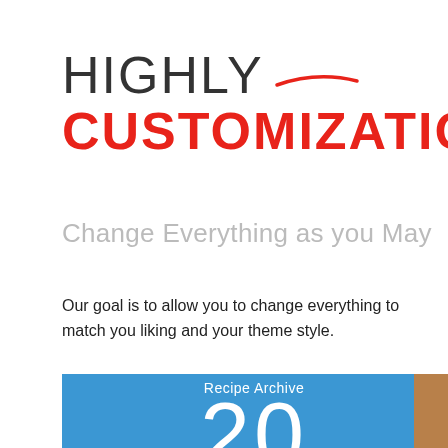HIGHLY CUSTOMIZATION
Change Everything as you May
Our goal is to allow you to change everything to match you liking and your theme style.
[Figure (infographic): Blue box with 'Recipe Archive' label and large number '20' in white text on blue background]
[Figure (photo): Partial photo visible at right edge, brownish food image]